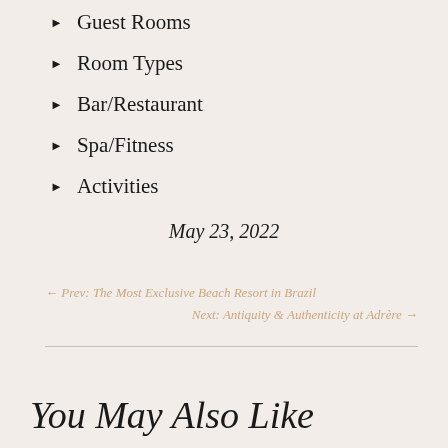Guest Rooms
Room Types
Bar/Restaurant
Spa/Fitness
Activities
May 23, 2022
← Prev: The Most Exclusive Beach Resort in Brazil
Next: Antiquity & Authenticity at Adrère →
You May Also Like